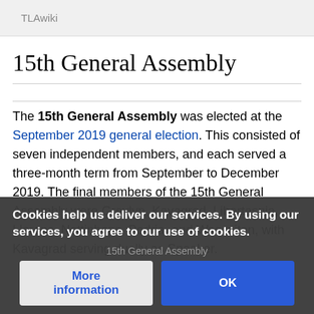TLAwiki
15th General Assembly
The 15th General Assembly was elected at the September 2019 general election. This consisted of seven independent members, and each served a three-month term from September to December 2019. The final members of the 15th General Assembly were Greylyn, Kavagrad, Libertasnia, Llorens, Nottinhaps, Podria, and Wascoitan, with Kavagrad serving dually as Speaker.
Cookies help us deliver our services. By using our services, you agree to our use of cookies.
15th General Assembly
More information
OK